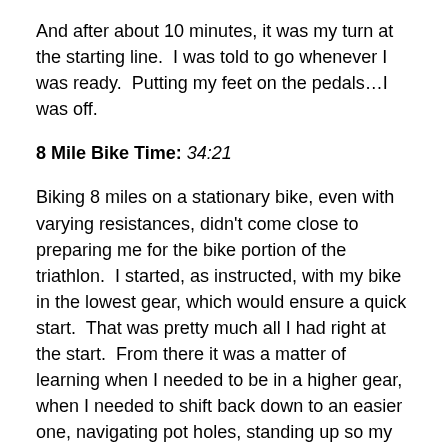And after about 10 minutes, it was my turn at the starting line.  I was told to go whenever I was ready.  Putting my feet on the pedals…I was off.
8 Mile Bike Time: 34:21
Biking 8 miles on a stationary bike, even with varying resistances, didn't come close to preparing me for the bike portion of the triathlon.  I started, as instructed, with my bike in the lowest gear, which would ensure a quick start.  That was pretty much all I had right at the start.  From there it was a matter of learning when I needed to be in a higher gear, when I needed to shift back down to an easier one, navigating pot holes, standing up so my bootie didn't get bruised as I cruised over a makeshift bridge that covered a large hole in the course.  The bike was HARD!
N…